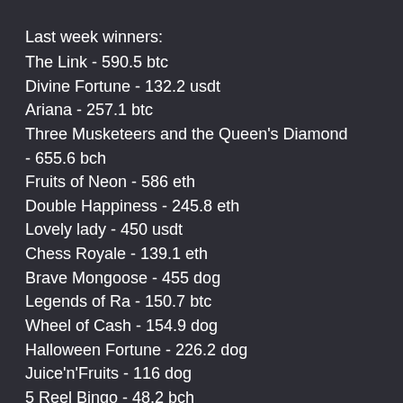Last week winners:
The Link - 590.5 btc
Divine Fortune - 132.2 usdt
Ariana - 257.1 btc
Three Musketeers and the Queen's Diamond - 655.6 bch
Fruits of Neon - 586 eth
Double Happiness - 245.8 eth
Lovely lady - 450 usdt
Chess Royale - 139.1 eth
Brave Mongoose - 455 dog
Legends of Ra - 150.7 btc
Wheel of Cash - 154.9 dog
Halloween Fortune - 226.2 dog
Juice'n'Fruits - 116 dog
5 Reel Bingo - 48.2 bch
Enchanted Meadow - 162.4 eth
Popular Slots: